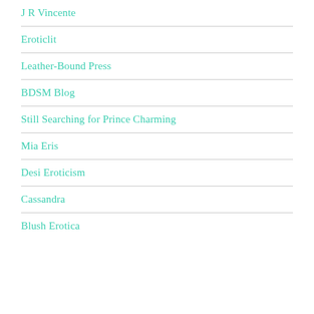J R Vincente
Eroticlit
Leather-Bound Press
BDSM Blog
Still Searching for Prince Charming
Mia Eris
Desi Eroticism
Cassandra
Blush Erotica